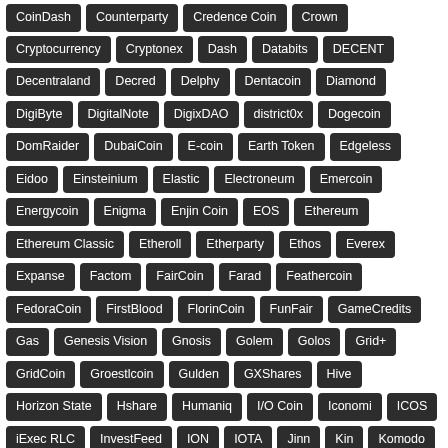CoinDash, Counterparty, Credence Coin, Crown, Cryptocurrency, Cryptonex, Dash, Databits, DECENT, Decentraland, Decred, Delphy, Dentacoin, Diamond, DigiByte, DigitalNote, DigixDAO, district0x, Dogecoin, DomRaider, DubaiCoin, E-coin, Earth Token, Edgeless, Eidoo, Einsteinium, Elastic, Electroneum, Emercoin, Energycoin, Enigma, Enjin Coin, EOS, Ethereum, Ethereum Classic, Etheroll, Etherparty, Ethos, Everex, Expanse, Factom, FairCoin, Farad, Feathercoin, FedoraCoin, FirstBlood, FlorinCoin, FunFair, GameCredits, Gas, Genesis Vision, Gnosis, Golem, Golos, Grid+, GridCoin, Groestlcoin, Gulden, GXShares, Hive, Horizon State, Hshare, Humaniq, I/O Coin, Iconomi, ICOS, iExec RLC, InvestFeed, ION, IOTA, Jinn, Kin, Komodo